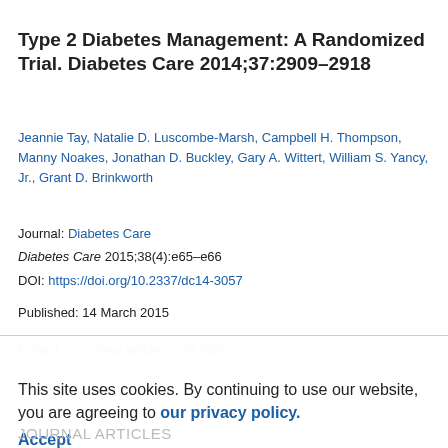Type 2 Diabetes Management: A Randomized Trial. Diabetes Care 2014;37:2909–2918
Jeannie Tay, Natalie D. Luscombe-Marsh, Campbell H. Thompson, Manny Noakes, Jonathan D. Buckley, Gary A. Wittert, William S. Yancy, Jr., Grant D. Brinkworth
Journal: Diabetes Care
Diabetes Care 2015;38(4):e65–e66
DOI: https://doi.org/10.2337/dc14-3057
Published: 14 March 2015
This site uses cookies. By continuing to use our website, you are agreeing to our privacy policy. Accept